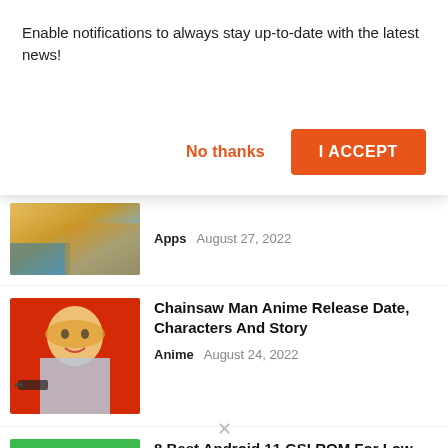Enable notifications to always stay up-to-date with the latest news!
No thanks
I ACCEPT
[Figure (screenshot): Partially visible thumbnail showing golden and blue tones]
Apps   August 27, 2022
[Figure (illustration): Chainsaw Man anime character on red background]
Chainsaw Man Anime Release Date, Characters And Story
Anime   August 24, 2022
[Figure (screenshot): Android 11 GSI ROM green logo with text ndroid 1 and Generic System Image Rom]
8 Best Android 11 GSI ROM For Low-end Devices
Top list   August 20, 2022